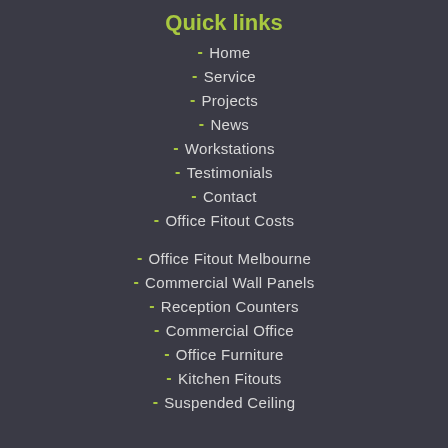Quick links
Home
Service
Projects
News
Workstations
Testimonials
Contact
Office Fitout Costs
Office Fitout Melbourne
Commercial Wall Panels
Reception Counters
Commercial Office
Office Furniture
Kitchen Fitouts
Suspended Ceiling